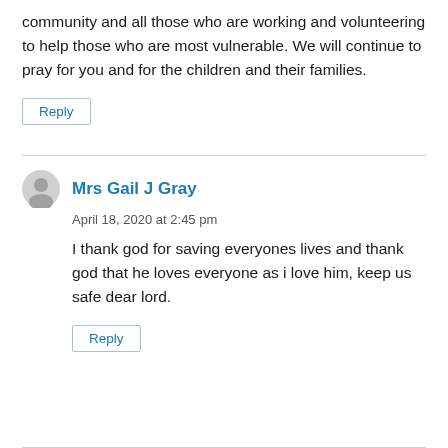community and all those who are working and volunteering to help those who are most vulnerable. We will continue to pray for you and for the children and their families.
Reply
Mrs Gail J Gray
April 18, 2020 at 2:45 pm
I thank god for saving everyones lives and thank god that he loves everyone as i love him, keep us safe dear lord.
Reply